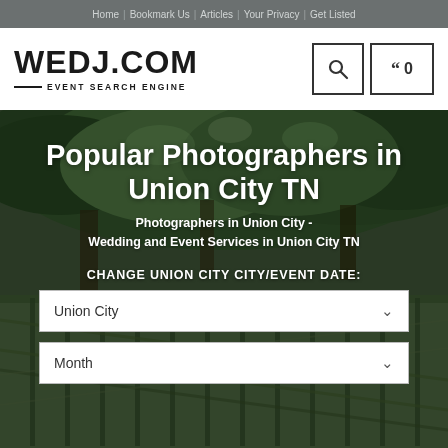Home | Bookmark Us | Articles | Your Privacy | Get Listed
[Figure (logo): WEDJ.COM logo with EVENT SEARCH ENGINE tagline]
[Figure (photo): Aerial/overhead photo of green trees and a green iron fence/gate area used as hero background image]
Popular Photographers in Union City TN
Photographers in Union City - Wedding and Event Services in Union City TN
CHANGE UNION CITY CITY/EVENT DATE:
Union City
Month